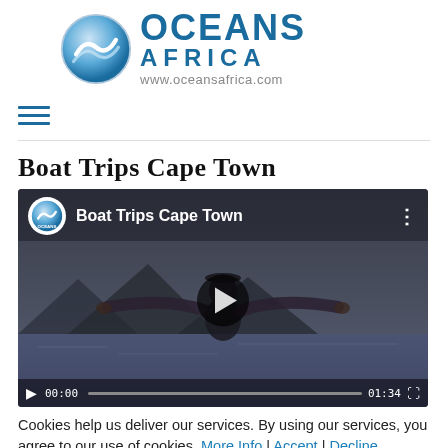[Figure (logo): Oceans Africa logo with wave icon, text OCEANS AFRICA and www.oceansafrica.com]
[Figure (other): Hamburger menu icon with three horizontal blue lines]
[Figure (screenshot): YouTube video embed titled 'Boat Trips Cape Town' showing Oceans Africa branding, a person with arms spread on a boat, play button, and bottom controls showing 00:00 and 01:34]
Boat Trips Cape Town
Cookies help us deliver our services. By using our services, you agree to our use of cookies. More Info | Accept | Decline